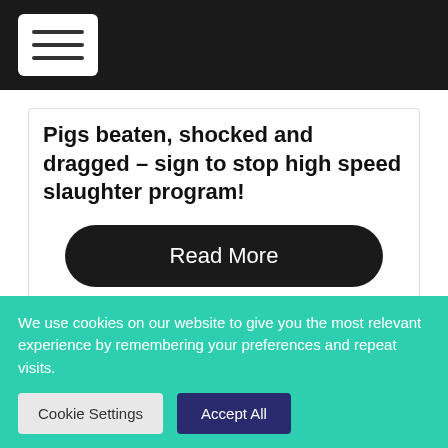[Navigation bar with hamburger menu]
Pigs beaten, shocked and dragged – sign to stop high speed slaughter program!
Read More
SIGN PETITION
[Figure (photo): Strip of close-up face images]
We use cookies on our website to give you the most relevant experience by remembering your preferences and repeat visits.
Cookie Settings  Accept All